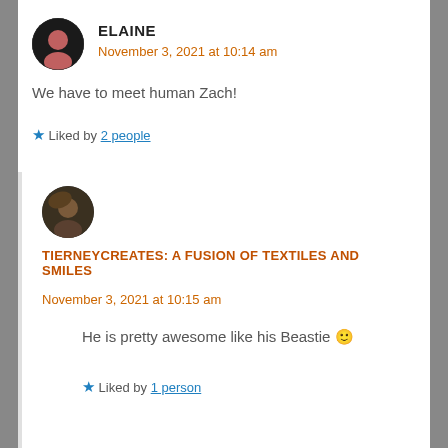ELAINE
November 3, 2021 at 10:14 am
We have to meet human Zach!
Liked by 2 people
TIERNEYCREATES: A FUSION OF TEXTILES AND SMILES
November 3, 2021 at 10:15 am
He is pretty awesome like his Beastie 🙂
Liked by 1 person